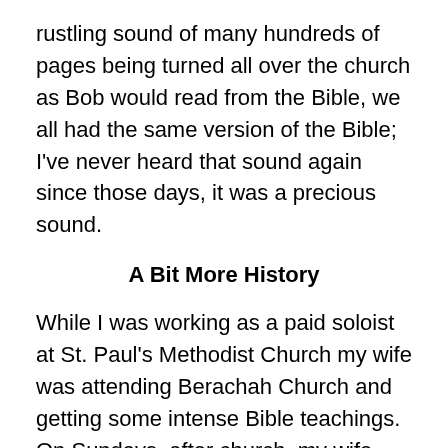rustling sound of many hundreds of pages being turned all over the church as Bob would read from the Bible, we all had the same version of the Bible; I've never heard that sound again since those days, it was a precious sound.
A Bit More History
While I was working as a paid soloist at St. Paul's Methodist Church my wife was attending Berachah Church and getting some intense Bible teachings. On Sundays, after church, my wife would tell me about all of the great teaching she was getting at Berachah and I longed to share in that experience with her.
Fortunately, Bob Thieme was absolutely devoted to teaching the Bible and taught every night of the week except for Saturday and Sunday nights. As I recall, he taught at Rice University on Monday nights, the University